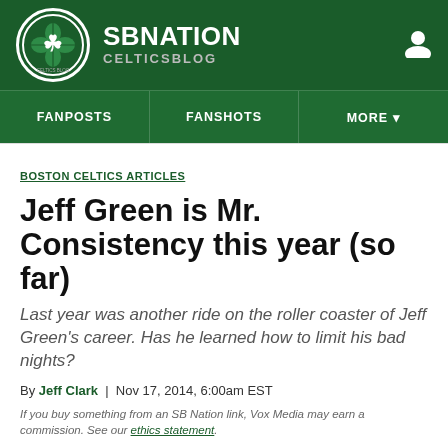[Figure (logo): SB Nation CelticsBlog site header with green background, shamrock logo circle, SBNATION and CELTICSBLOG text, and user icon]
FANPOSTS | FANSHOTS | MORE
BOSTON CELTICS ARTICLES
Jeff Green is Mr. Consistency this year (so far)
Last year was another ride on the roller coaster of Jeff Green's career. Has he learned how to limit his bad nights?
By Jeff Clark | Nov 17, 2014, 6:00am EST
If you buy something from an SB Nation link, Vox Media may earn a commission. See our ethics statement.